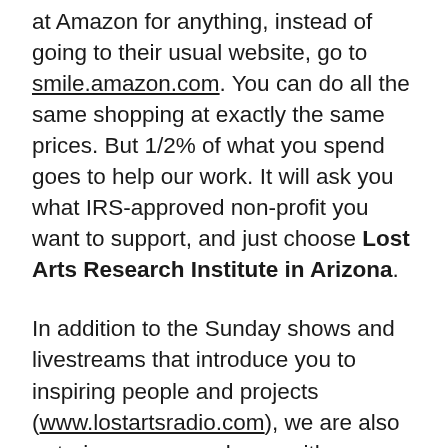...more about the Amazon, when you shop at Amazon for anything, instead of going to their usual website, go to smile.amazon.com. You can do all the same shopping at exactly the same prices. But 1/2% of what you spend goes to help our work. It will ask you what IRS-approved non-profit you want to support, and just choose Lost Arts Research Institute in Arizona.
In addition to the Sunday shows and livestreams that introduce you to inspiring people and projects (www.lostartsradio.com), we are also entering our second year with Planetary Healing Club (www.planetaryhealingclub.com). PHC is a